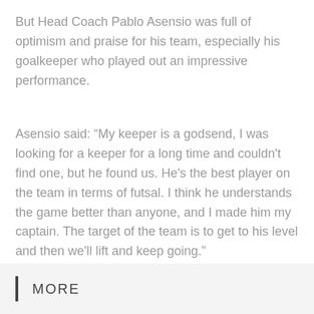But Head Coach Pablo Asensio was full of optimism and praise for his team, especially his goalkeeper who played out an impressive performance.
Asensio said: “My keeper is a godsend, I was looking for a keeper for a long time and couldn't find one, but he found us. He's the best player on the team in terms of futsal. I think he understands the game better than anyone, and I made him my captain. The target of the team is to get to his level and then we'll lift and keep going.”
MORE